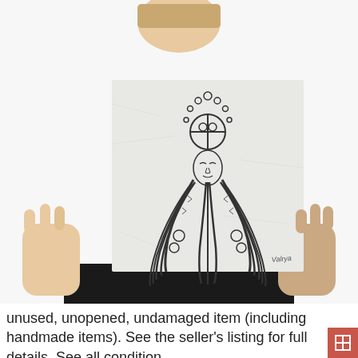[Figure (photo): A person in a black t-shirt holds up a square art print on a light grey marble-textured background. The print features a detailed black line illustration of a goddess-like female figure with long braided hair adorned with flowers, wearing an ornate headdress with circular motifs and small circles/dots arranged in an arc above. The face has closed eyes and decorative markings. There is a small artist signature in the lower right corner of the print reading 'Valrya' or similar.]
unused, unopened, undamaged item (including handmade items). See the seller's listing for full details. See all condition